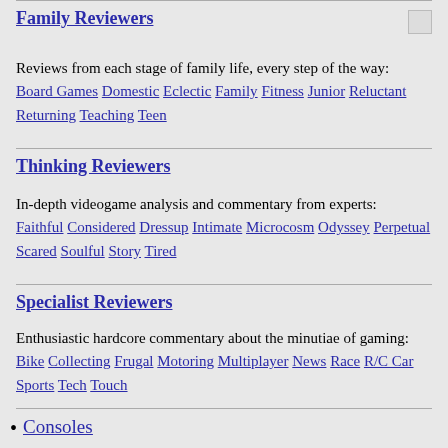Family Reviewers
Reviews from each stage of family life, every step of the way: Board Games Domestic Eclectic Family Fitness Junior Reluctant Returning Teaching Teen
Thinking Reviewers
In-depth videogame analysis and commentary from experts: Faithful Considered Dressup Intimate Microcosm Odyssey Perpetual Scared Soulful Story Tired
Specialist Reviewers
Enthusiastic hardcore commentary about the minutiae of gaming: Bike Collecting Frugal Motoring Multiplayer News Race R/C Car Sports Tech Touch
Consoles